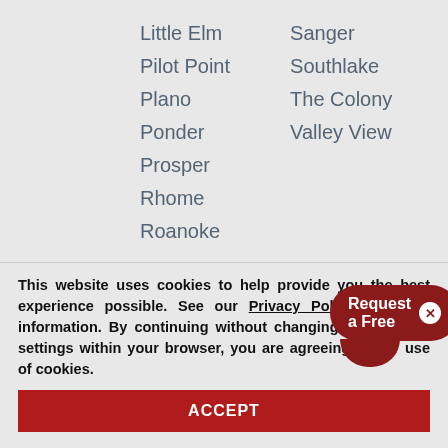Little Elm
Pilot Point
Plano
Ponder
Prosper
Rhome
Roanoke
Sanger
Southlake
The Colony
Valley View
Rockwall, Texas
Fate
McLe[ndon-Chisholm]
This website uses cookies to help provide you the best experience possible. See our Privacy Policy for more information. By continuing without changing your cookie settings within your browser, you are agreeing to our use of cookies.
ACCEPT